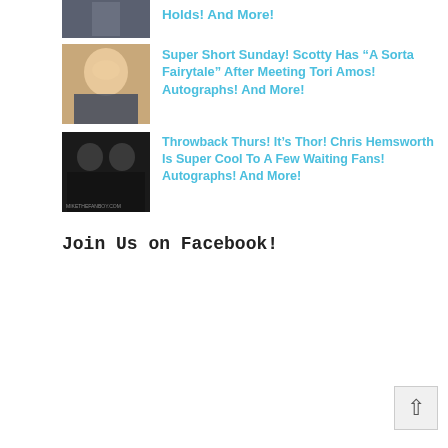[Figure (photo): Thumbnail photo of two people, partially cropped at top]
Holds! And More!
[Figure (photo): Thumbnail photo of a woman with red/blonde hair and glasses]
Super Short Sunday! Scotty Has “A Sorta Fairytale” After Meeting Tori Amos! Autographs! And More!
[Figure (photo): Thumbnail photo of two men in dark clothing, watermarked mikethe fanboy.com]
Throwback Thurs! It’s Thor! Chris Hemsworth Is Super Cool To A Few Waiting Fans! Autographs! And More!
Join Us on Facebook!